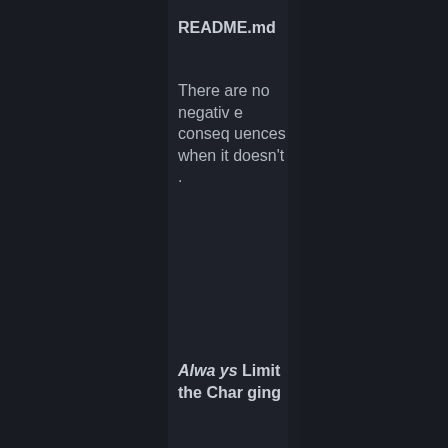README.md
There are no negative consequences when it doesn't.
Always Limit the Charging